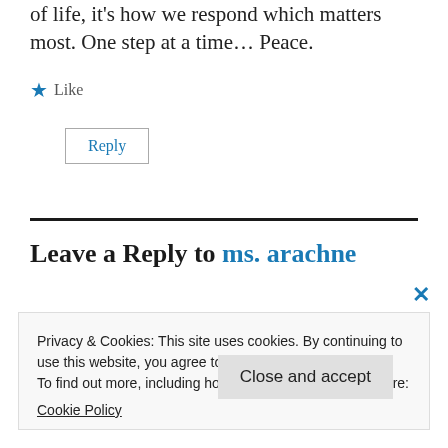of life, it's how we respond which matters most. One step at a time… Peace.
★ Like
Reply
Leave a Reply to ms. arachne
Privacy & Cookies: This site uses cookies. By continuing to use this website, you agree to their use.
To find out more, including how to control cookies, see here:
Cookie Policy
Close and accept